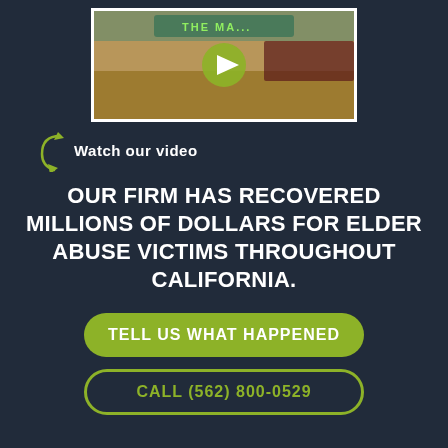[Figure (photo): Photo of a law firm building exterior sign showing 'THE MA... FIRM' with a green play button overlay indicating a video thumbnail]
Watch our video
OUR FIRM HAS RECOVERED MILLIONS OF DOLLARS FOR ELDER ABUSE VICTIMS THROUGHOUT CALIFORNIA.
TELL US WHAT HAPPENED
CALL (562) 800-0529